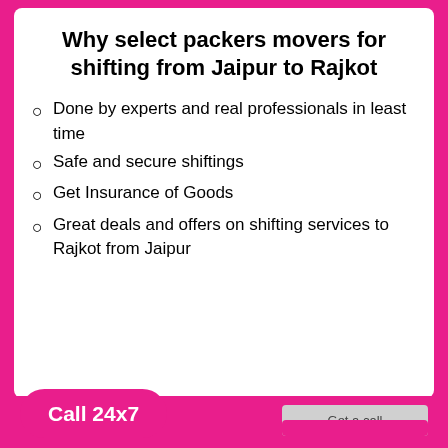Why select packers movers for shifting from Jaipur to Rajkot
Done by experts and real professionals in least time
Safe and secure shiftings
Get Insurance of Goods
Great deals and offers on shifting services to Rajkot from Jaipur
Call 24x7
Get a call